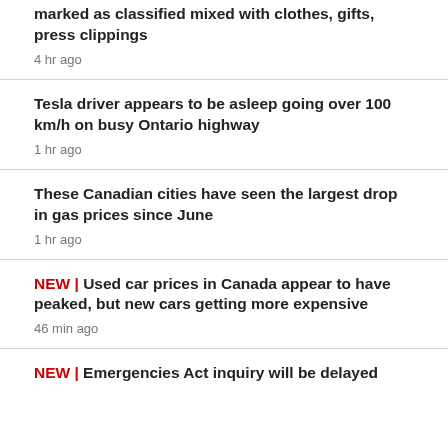marked as classified mixed with clothes, gifts, press clippings
4 hr ago
Tesla driver appears to be asleep going over 100 km/h on busy Ontario highway
1 hr ago
These Canadian cities have seen the largest drop in gas prices since June
1 hr ago
NEW | Used car prices in Canada appear to have peaked, but new cars getting more expensive
46 min ago
NEW | Emergencies Act inquiry will be delayed